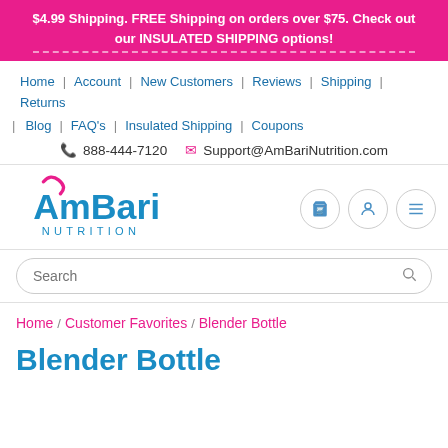$4.99 Shipping. FREE Shipping on orders over $75. Check out our INSULATED SHIPPING options!
Home | Account | New Customers | Reviews | Shipping | Returns | Blog | FAQ's | Insulated Shipping | Coupons
888-444-7120  Support@AmBariNutrition.com
[Figure (logo): AmBari Nutrition logo with pink cursive and teal block letters]
Search
Home / Customer Favorites / Blender Bottle
Blender Bottle